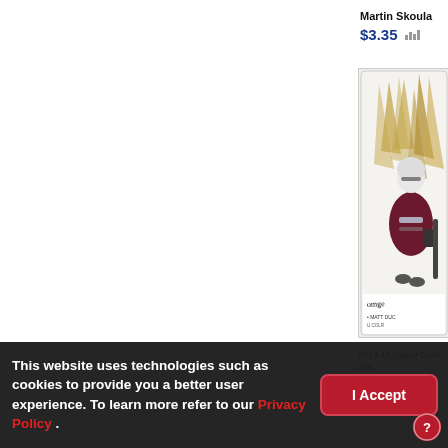Martin Skoula
$3.35
[Figure (photo): Hockey trading card showing Matt Duchene in Colorado Avalanche uniform, signed card, 2014-15 Upper Deck]
2014-15 Upper Deck
#88
Matt Duchene
$3.35
This website uses technologies such as cookies to provide you a better user experience. To learn more refer to our Privacy Policy .